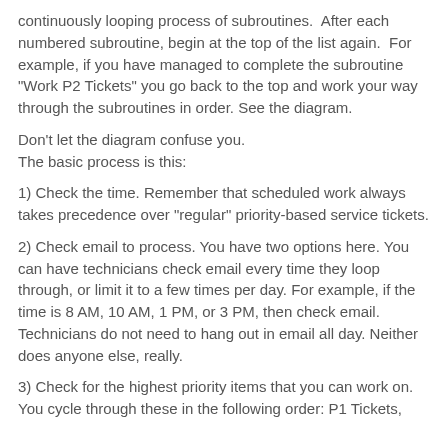continuously looping process of subroutines. After each numbered subroutine, begin at the top of the list again. For example, if you have managed to complete the subroutine "Work P2 Tickets" you go back to the top and work your way through the subroutines in order. See the diagram.
Don't let the diagram confuse you.
The basic process is this:
1) Check the time. Remember that scheduled work always takes precedence over "regular" priority-based service tickets.
2) Check email to process. You have two options here. You can have technicians check email every time they loop through, or limit it to a few times per day. For example, if the time is 8 AM, 10 AM, 1 PM, or 3 PM, then check email. Technicians do not need to hang out in email all day. Neither does anyone else, really.
3) Check for the highest priority items that you can work on. You cycle through these in the following order: P1 Tickets,